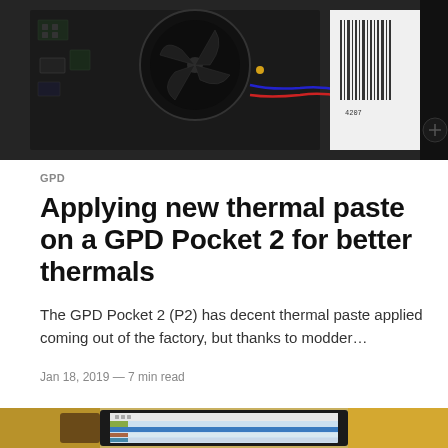[Figure (photo): Close-up photo of a GPD Pocket 2 circuit board with cooling fan, electronic components, blue and red wires, and a barcode label visible on the right side]
GPD
Applying new thermal paste on a GPD Pocket 2 for better thermals
The GPD Pocket 2 (P2) has decent thermal paste applied coming out of the factory, but thanks to modder…
Jan 18, 2019 — 7 min read
[Figure (photo): Photo of a laptop displaying what appears to be a download manager or torrent client software, with a blurred background showing wooden surface]